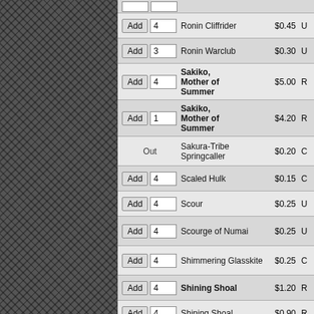| Action | Qty | Card Name | Price | Rarity |
| --- | --- | --- | --- | --- |
| Add | 4 | Ronin Cliffrider | $0.45 | U |
| Add | 3 | Ronin Warclub | $0.30 | U |
| Add | 4 | Sakiko, Mother of Summer | $5.00 | R |
| Add | 1 | Sakiko, Mother of Summer | $4.20 | R |
| Out |  | Sakura-Tribe Springcaller | $0.20 | C |
| Add | 4 | Scaled Hulk | $0.15 | C |
| Add | 4 | Scour | $0.25 | U |
| Add | 4 | Scourge of Numai | $0.25 | U |
| Add | 4 | Shimmering Glasskite | $0.25 | C |
| Add | 4 | Shining Shoal | $1.20 | R |
| Add | 4 | Shining Shoal | $0.90 | R |
| Add | 4 | Shinka Gatekeeper | $0.20 | C |